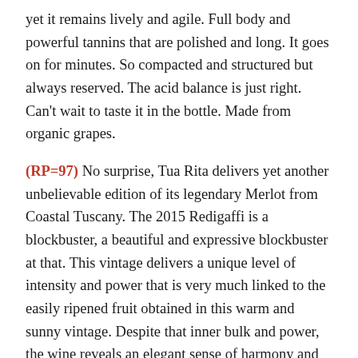yet it remains lively and agile. Full body and powerful tannins that are polished and long. It goes on for minutes. So compacted and structured but always reserved. The acid balance is just right. Can't wait to taste it in the bottle. Made from organic grapes.
(RP=97) No surprise, Tua Rita delivers yet another unbelievable edition of its legendary Merlot from Coastal Tuscany. The 2015 Redigaffi is a blockbuster, a beautiful and expressive blockbuster at that. This vintage delivers a unique level of intensity and power that is very much linked to the easily ripened fruit obtained in this warm and sunny vintage. Despite that inner bulk and power, the wine reveals an elegant sense of harmony and depth. Etched mineral or graphite notes segue to black fruit, spice, leather, mocha and toasted espresso bean. The wine is structured and firm in terms of mouthfeel.